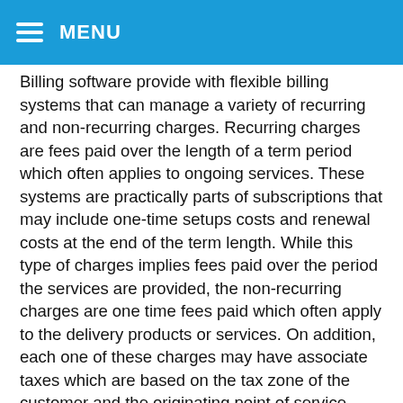MENU
Billing software provide with flexible billing systems that can manage a variety of recurring and non-recurring charges. Recurring charges are fees paid over the length of a term period which often applies to ongoing services. These systems are practically parts of subscriptions that may include one-time setups costs and renewal costs at the end of the term length. While this type of charges implies fees paid over the period the services are provided, the non-recurring charges are one time fees paid which often apply to the delivery products or services. On addition, each one of these charges may have associate taxes which are based on the tax zone of the customer and the originating point of service. They are also based on the tax zone of the service provider. It is also good to know, that a billing software may involve credits and adjustments. As the result of a promotion, a billing adjustment may be initiated by a customer or applied automatically. There are billing software that has special features designed to accommodate the needs for different kinds of business projects. For example, people working in the